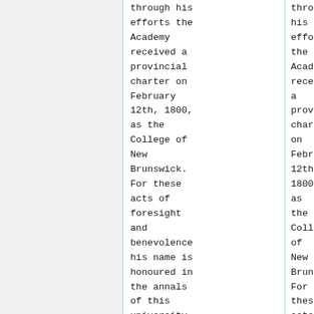through his efforts the Academy received a provincial charter on February 12th, 1800, as the College of New Brunswick. For these acts of foresight and benevolence his name is honoured in the annals of this university
through his efforts the Academy received a provincial charter on February 12th, 1800, as the College of New Brunswick. For these acts of foresight and benevolence his name is honoured in the annals of this university